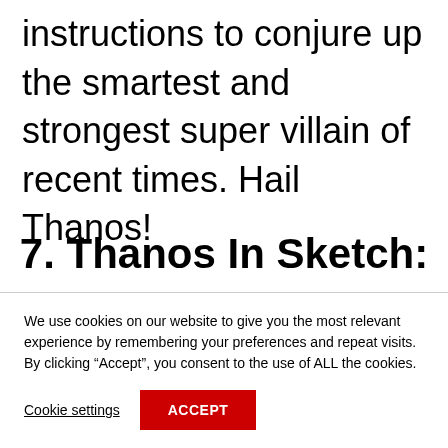instructions to conjure up the smartest and strongest super villain of recent times. Hail Thanos!
7. Thanos In Sketch:
We use cookies on our website to give you the most relevant experience by remembering your preferences and repeat visits. By clicking “Accept”, you consent to the use of ALL the cookies.
Cookie settings
ACCEPT